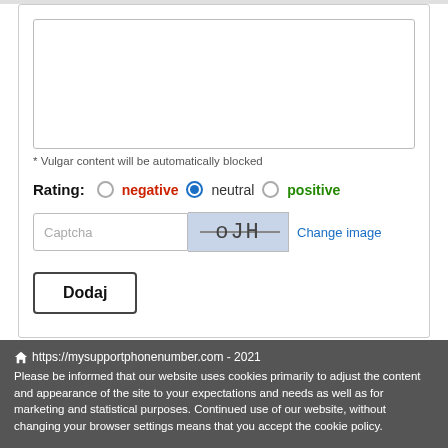[Figure (screenshot): Textarea input box for comment entry]
* Vulgar content will be automatically blocked
Rating: negative neutral positive
[Figure (screenshot): Captcha input field with captcha image showing 'oJH' with strikethrough, and 'Change image' link]
Dodaj
https://mysupportphonenumber.com - 2021 Please be informed that our website uses cookies primarily to adjust the content and appearance of the site to your expectations and needs as well as for marketing and statistical purposes. Continued use of our website, without changing your browser settings means that you accept the cookie policy.